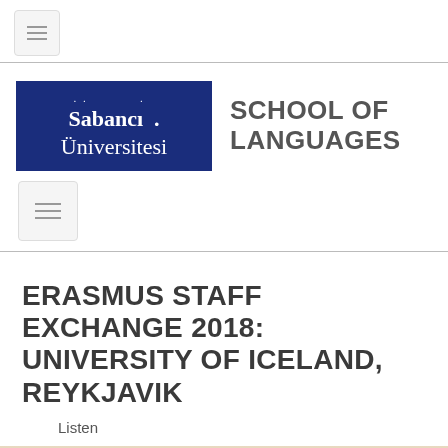[Figure (logo): Small hamburger menu icon button (three horizontal lines) in a light gray rounded rectangle]
[Figure (logo): Sabancı Üniversitesi logo (dark blue rectangle with white serif text) next to 'SCHOOL OF LANGUAGES' in bold gray sans-serif text, followed by a second hamburger menu icon below]
ERASMUS STAFF EXCHANGE 2018: UNIVERSITY OF ICELAND, REYKJAVIK
Listen
[Figure (photo): Partial view of a photograph showing a light beige/cream colored scene, likely an interior or outdoor setting]